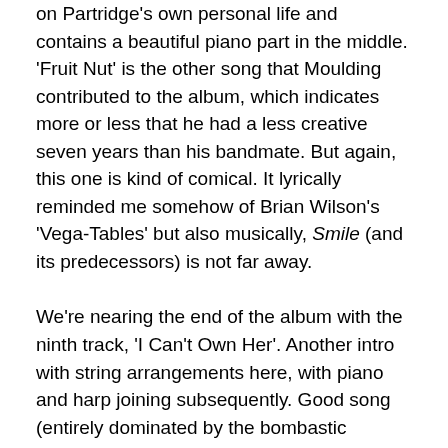on Partridge's own personal life and contains a beautiful piano part in the middle. 'Fruit Nut' is the other song that Moulding contributed to the album, which indicates more or less that he had a less creative seven years than his bandmate. But again, this one is kind of comical. It lyrically reminded me somehow of Brian Wilson's 'Vega-Tables' but also musically, Smile (and its predecessors) is not far away.
We're nearing the end of the album with the ninth track, 'I Can't Own Her'. Another intro with string arrangements here, with piano and harp joining subsequently. Good song (entirely dominated by the bombastic orchestrated parts), but no highlight. The last song that really stands out musically, is the penultimate track 'Harvest Festival'. It's built around (again) Partridge's magnificent vocals (especially during the chorus) and Dave Gregory's keys. Gregory by the way left the band during the recording of the album as he favored more guitar playing instead of all